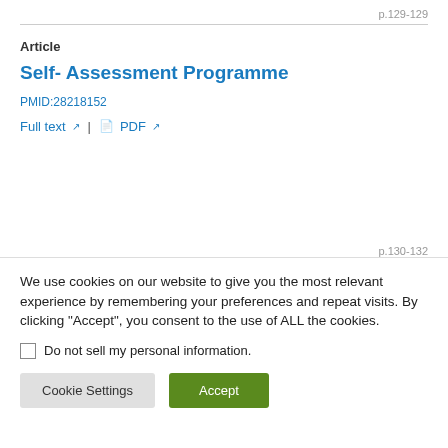p.129-129
Article
Self- Assessment Programme
PMID:28218152
Full text | PDF
p.130-132
We use cookies on our website to give you the most relevant experience by remembering your preferences and repeat visits. By clicking "Accept", you consent to the use of ALL the cookies.
Do not sell my personal information.
Cookie Settings   Accept